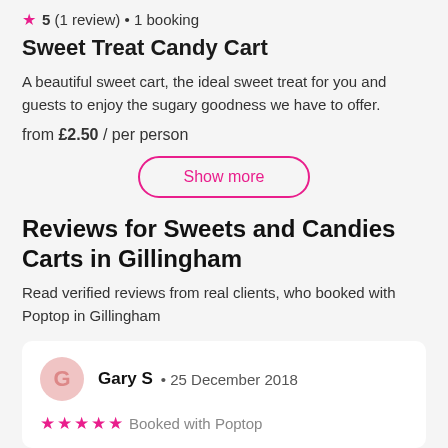5 (1 review) • 1 booking
Sweet Treat Candy Cart
A beautiful sweet cart, the ideal sweet treat for you and guests to enjoy the sugary goodness we have to offer.
from £2.50 / per person
Show more
Reviews for Sweets and Candies Carts in Gillingham
Read verified reviews from real clients, who booked with Poptop in Gillingham
Gary S • 25 December 2018
★★★★★ Booked with Poptop